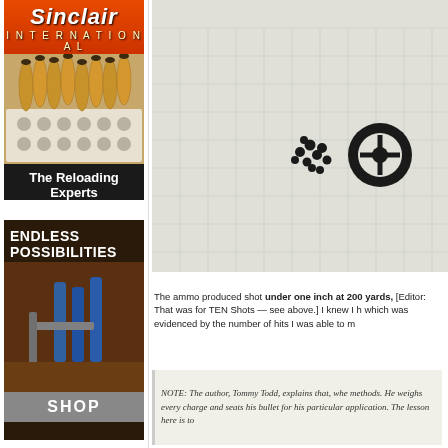[Figure (photo): Sinclair International advertisement showing brass bullet casings in a reloading tray with text 'The Reloading Experts' and 'Shop Now']
[Figure (photo): Advertisement with 'ENDLESS POSSIBILITIES' header showing reloading tools and equipment, with 'SHOP' button at bottom]
1" at 200 yards, for 10
[Figure (photo): Shooting target with grid squares showing a group of bullet holes clustered together and a circular aiming point to the right]
The ammo produced shot under one inch at 200 yards, [Editor: That was for TEN Shots — see above.] I knew I h which was evidenced by the number of hits I was able to m
NOTE: The author, Tommy Todd, explains that, whe methods. He weighs every charge and seats his bullet for his particular application. The lesson here is to